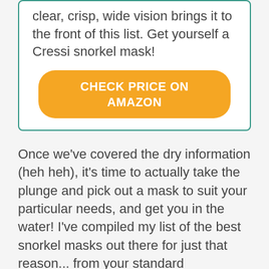clear, crisp, wide vision brings it to the front of this list. Get yourself a Cressi snorkel mask!
CHECK PRICE ON AMAZON
Once we've covered the dry information (heh heh), it's time to actually take the plunge and pick out a mask to suit your particular needs, and get you in the water! I've compiled my list of the best snorkel masks out there for just that reason... from your standard